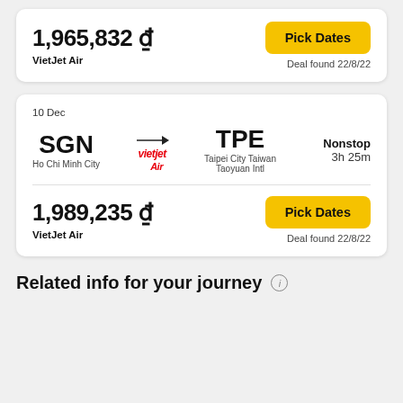1,965,832 ₫
VietJet Air
Pick Dates
Deal found 22/8/22
10 Dec
SGN
Ho Chi Minh City
TPE
Taipei City Taiwan Taoyuan Intl
Nonstop
3h 25m
1,989,235 ₫
VietJet Air
Pick Dates
Deal found 22/8/22
Related info for your journey